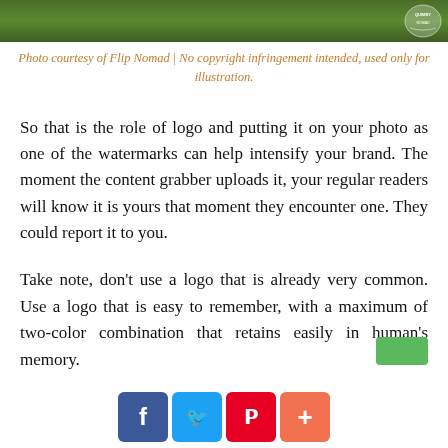[Figure (photo): Aerial view of green tea plantation or jungle canopy with a circular watermark badge in the top right corner]
Photo courtesy of Flip Nomad | No copyright infringement intended, used only for illustration.
So that is the role of logo and putting it on your photo as one of the watermarks can help intensify your brand. The moment the content grabber uploads it, your regular readers will know it is yours that moment they encounter one. They could report it to you.
Take note, don't use a logo that is already very common. Use a logo that is easy to remember, with a maximum of two-color combination that retains easily in human's memory.